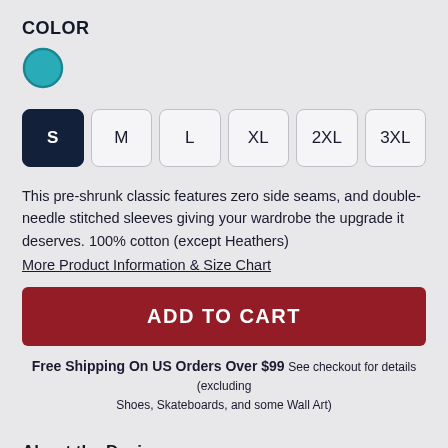COLOR
[Figure (illustration): Teal/cyan colored circle swatch indicating selected color option]
[Figure (illustration): Size selector buttons: S (selected/dark), M, L, XL, 2XL, 3XL]
This pre-shrunk classic features zero side seams, and double-needle stitched sleeves giving your wardrobe the upgrade it deserves. 100% cotton (except Heathers)
More Product Information & Size Chart
ADD TO CART
Free Shipping On US Orders Over $99 See checkout for details (excluding Shoes, Skateboards, and some Wall Art)
About the Design
It's DJ Hottpants of Miami! You can see him DJ every week down in Miami with his signature hot pants and big red beard.